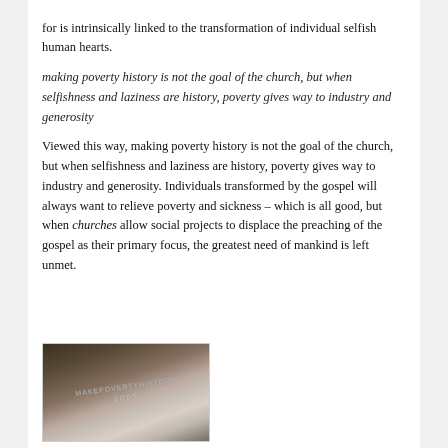for is intrinsically linked to the transformation of individual selfish human hearts.
making poverty history is not the goal of the church, but when selfishness and laziness are history, poverty gives way to industry and generosity
Viewed this way, making poverty history is not the goal of the church, but when selfishness and laziness are history, poverty gives way to industry and generosity. Individuals transformed by the gospel will always want to relieve poverty and sickness – which is all good, but when churches allow social projects to displace the preaching of the gospel as their primary focus, the greatest need of mankind is left unmet.
[Figure (photo): A wristband on a wrist with text 'MAKEPOVERTYHISTORY' and '2005' embossed, shown against a dark background.]